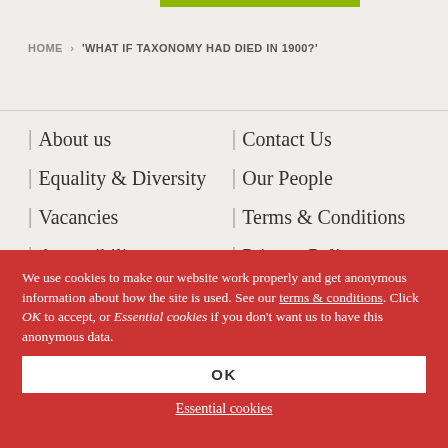HOME > 'WHAT IF TAXONOMY HAD DIED IN 1900?'
About us
Contact Us
Equality & Diversity
Our People
Vacancies
Terms & Conditions
Accessibility
Privacy Policy
Media Centre
We use cookies to make our website work properly and get anonymous information about how the site is used. See our terms & conditions. Click OK to accept, or Essential cookies if you don't want us to have this anonymous data.
OK
Essential cookies